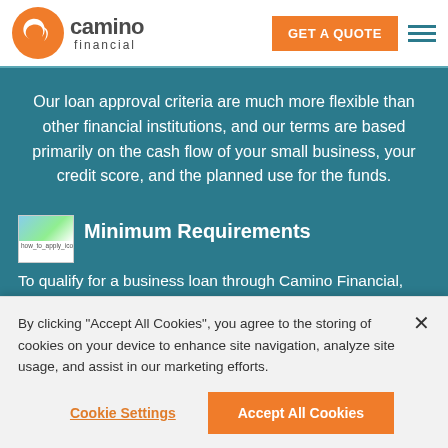Camino Financial — GET A QUOTE
Our loan approval criteria are much more flexible than other financial institutions, and our terms are based primarily on the cash flow of your small business, your credit score, and the planned use for the funds.
Minimum Requirements
To qualify for a business loan through Camino Financial, your registered business should be operating for at least six months, generate revenues of $30,000 annually, or $2,500...
By clicking "Accept All Cookies", you agree to the storing of cookies on your device to enhance site navigation, analyze site usage, and assist in our marketing efforts.